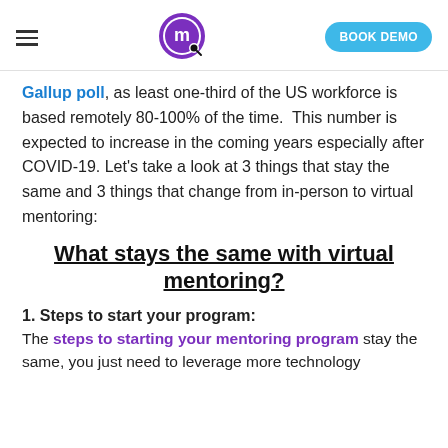≡ [logo] BOOK DEMO
Gallup poll, as least one-third of the US workforce is based remotely 80-100% of the time. This number is expected to increase in the coming years especially after COVID-19. Let's take a look at 3 things that stay the same and 3 things that change from in-person to virtual mentoring:
What stays the same with virtual mentoring?
1. Steps to start your program:
The steps to starting your mentoring program stay the same, you just need to leverage more technology